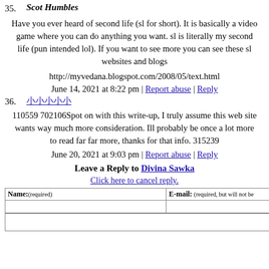35. Scot Humbles
Have you ever heard of second life (sl for short). It is basically a video game where you can do anything you want. sl is literally my second life (pun intended lol). If you want to see more you can see these sl websites and blogs
http://myvedana.blogspot.com/2008/05/text.html
June 14, 2021 at 8:22 pm | Report abuse | Reply
36. [foreign characters]
110559 702106Spot on with this write-up, I truly assume this web site wants way much more consideration. Ill probably be once a lot more to read far far more, thanks for that info. 315239
June 20, 2021 at 9:03 pm | Report abuse | Reply
Leave a Reply to Divina Sawka
Click here to cancel reply.
| Name: (required) | E-mail: (required, but will not be |
| --- | --- |
|  |  |